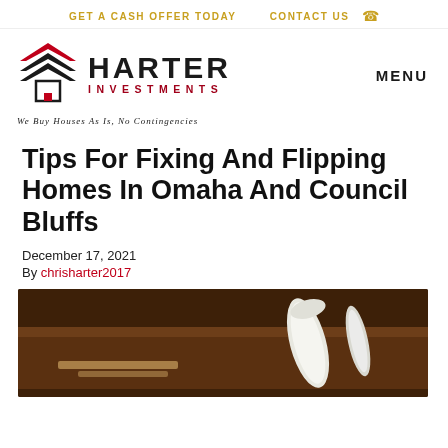GET A CASH OFFER TODAY   CONTACT US
[Figure (logo): Harter Investments logo with chevron house icon, tagline: We Buy Houses As Is, No Contingencies]
Tips For Fixing And Flipping Homes In Omaha And Council Bluffs
December 17, 2021
By chrisharter2017
[Figure (photo): Close-up photo of rolled blueprints or documents on a wooden surface]